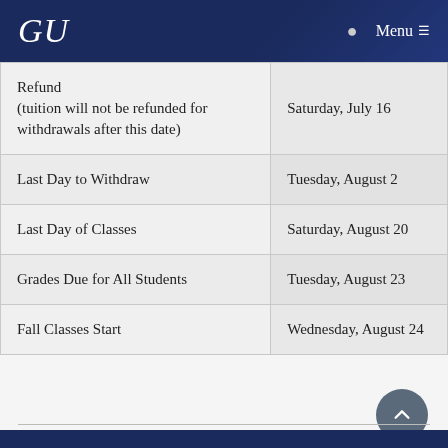GU | Menu
| Event | Date |
| --- | --- |
| Refund (tuition will not be refunded for withdrawals after this date) | Saturday, July 16 |
| Last Day to Withdraw | Tuesday, August 2 |
| Last Day of Classes | Saturday, August 20 |
| Grades Due for All Students | Tuesday, August 23 |
| Fall Classes Start | Wednesday, August 24 |